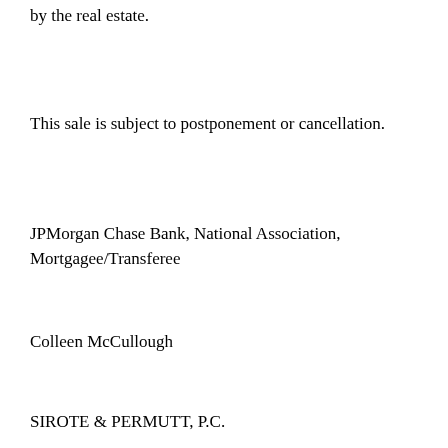by the real estate.
This sale is subject to postponement or cancellation.
JPMorgan Chase Bank, National Association, Mortgagee/Transferee
Colleen McCullough
SIROTE & PERMUTT, P.C.